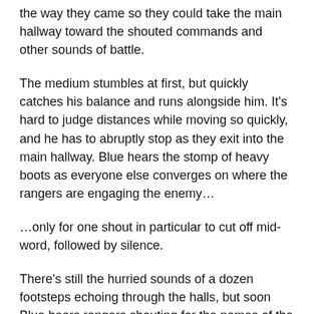the way they came so they could take the main hallway toward the shouted commands and other sounds of battle.
The medium stumbles at first, but quickly catches his balance and runs alongside him. It’s hard to judge distances while moving so quickly, and he has to abruptly stop as they exit into the main hallway. Blue hears the stomp of heavy boots as everyone else converges on where the rangers are engaging the enemy…
…only for one shout in particular to cut off mid-word, followed by silence.
There’s still the hurried sounds of a dozen footsteps echoing through the halls, but soon Blue hears rangers shouting for the names of the one who called out, then their partner.
By the time he and Jason reach the others they’re searching congregating half after another Blue about Cabriet